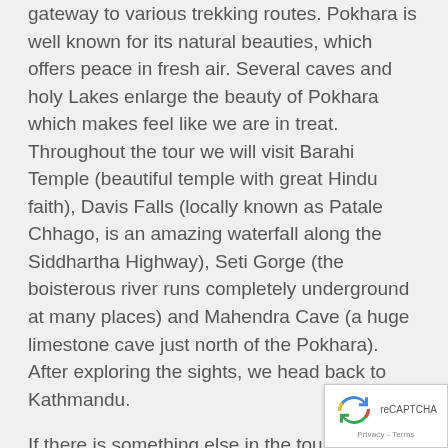gateway to various trekking routes. Pokhara is well known for its natural beauties, which offers peace in fresh air. Several caves and holy Lakes enlarge the beauty of Pokhara which makes feel like we are in treat. Throughout the tour we will visit Barahi Temple (beautiful temple with great Hindu faith), Davis Falls (locally known as Patale Chhago, is an amazing waterfall along the Siddhartha Highway), Seti Gorge (the boisterous river runs completely underground at many places) and Mahendra Cave (a huge limestone cave just north of the Pokhara). After exploring the sights, we head back to Kathmandu.
If there is something else in the tour you would like to see, or something you'd prefer to skip, let us kno… can tailor the package more towards your inte…
[Figure (other): reCAPTCHA badge with circular arrow icon and Privacy - Terms text]